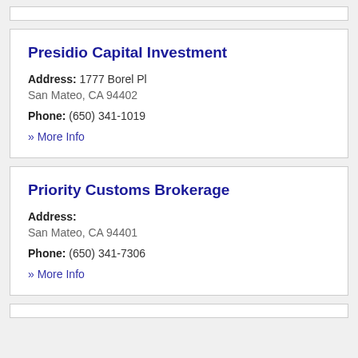Presidio Capital Investment
Address: 1777 Borel Pl
San Mateo, CA 94402
Phone: (650) 341-1019
» More Info
Priority Customs Brokerage
Address:
San Mateo, CA 94401
Phone: (650) 341-7306
» More Info